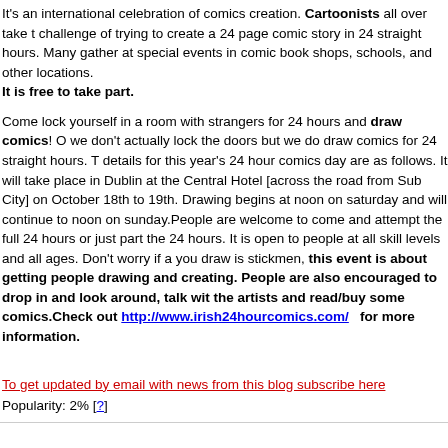It's an international celebration of comics creation. Cartoonists all over take the challenge of trying to create a 24 page comic story in 24 straight hours. Many gather at special events in comic book shops, schools, and other locations. It is free to take part.
Come lock yourself in a room with strangers for 24 hours and draw comics! Ok we don't actually lock the doors but we do draw comics for 24 straight hours. The details for this year's 24 hour comics day are as follows. It will take place in Dublin at the Central Hotel [across the road from Sub City] on October 18th to 19th. Drawing begins at noon on saturday and will continue to noon on sunday.People are welcome to come and attempt the full 24 hours or just part of the 24 hours. It is open to people at all skill levels and all ages. Don't worry if all you draw is stickmen, this event is about getting people drawing and creating. People are also encouraged to drop in and look around, talk with the artists and read/buy some comics.Check out http://www.irish24hourcomics.com/ for more information.
To get updated by email with news from this blog subscribe here
Popularity: 2% [?]